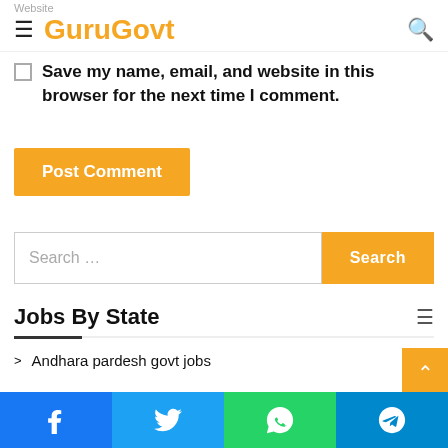Website
GuruGovt
Save my name, email, and website in this browser for the next time I comment.
Post Comment
Search …
Jobs By State
Andhara pardesh govt jobs
Andaman & Nicobar Govt Jobs